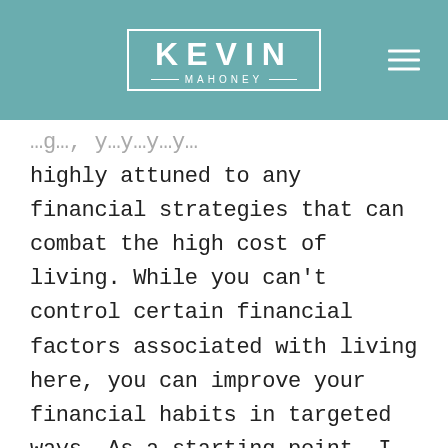KEVIN MAHONEY
highly attuned to any financial strategies that can combat the high cost of living. While you can't control certain financial factors associated with living here, you can improve your financial habits in targeted ways. As a starting point, I suggest focusing on these three aspects of your finances when you want to minimize the impact of an expensive city: